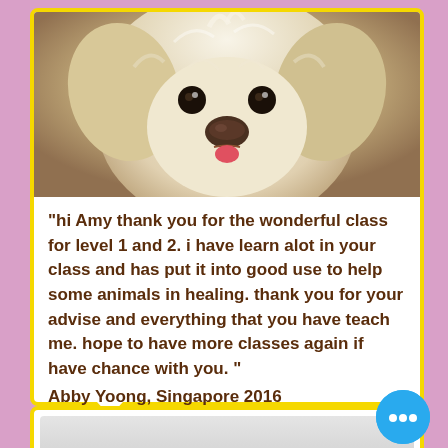[Figure (photo): Close-up photo of a small white fluffy dog (Maltese type) looking at the camera, with a dark nose and slight tongue showing]
"hi Amy thank you for the wonderful class for level 1 and 2. i have learn alot in your class and has put it into good use to help some animals in healing. thank you for your advise and everything that you have teach me. hope to have more classes again if have chance with you. "
Abby Yoong, Singapore 2016
[Figure (screenshot): Partially visible next card/slide at the bottom of the page with a light grey background, partially cut off]
[Figure (other): Blue circular chat button with three white dots (ellipsis) in the bottom right corner]